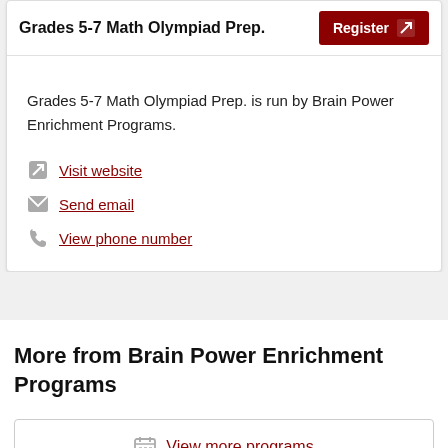Grades 5-7 Math Olympiad Prep.
Grades 5-7 Math Olympiad Prep. is run by Brain Power Enrichment Programs.
Visit website
Send email
View phone number
More from Brain Power Enrichment Programs
View more programs
Read reviews